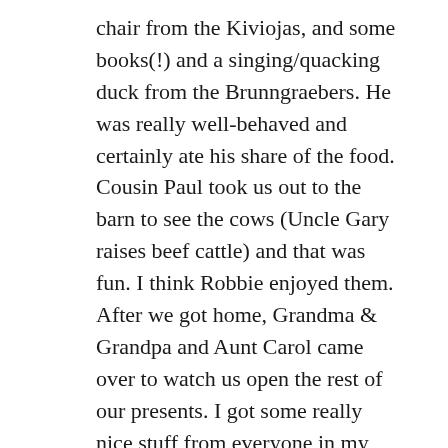chair from the Kiviojas, and some books(!) and a singing/quacking duck from the Brunngraebers. He was really well-behaved and certainly ate his share of the food. Cousin Paul took us out to the barn to see the cows (Uncle Gary raises beef cattle) and that was fun. I think Robbie enjoyed them. After we got home, Grandma & Grandpa and Aunt Carol came over to watch us open the rest of our presents. I got some really nice stuff from everyone in my family (I'll post a comprehensive list in a day or so), but I think me and Ryan's best gift was a video camera from Rick, Mom & Dad, and Carol & Wayne. Thanks so much for it!! Now we'll be able to take video of Robbie, and that will be nice for me while I'm at school for 8 weeks and also for Mom & Dad and Grandma & Grandpa. Ryan's working on getting everything all